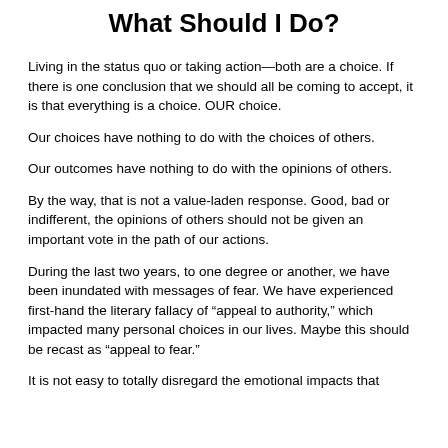What Should I Do?
Living in the status quo or taking action—both are a choice. If there is one conclusion that we should all be coming to accept, it is that everything is a choice. OUR choice.
Our choices have nothing to do with the choices of others.
Our outcomes have nothing to do with the opinions of others.
By the way, that is not a value-laden response. Good, bad or indifferent, the opinions of others should not be given an important vote in the path of our actions.
During the last two years, to one degree or another, we have been inundated with messages of fear. We have experienced first-hand the literary fallacy of “appeal to authority,” which impacted many personal choices in our lives. Maybe this should be recast as “appeal to fear.”
It is not easy to totally disregard the emotional impacts that